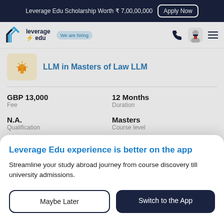Leverage Edu Scholarship Worth ₹ 7,00,00,000  Apply Now
[Figure (logo): Leverage Edu logo with rocket icon and 'We are hiring' badge, phone icon, avatar icon, hamburger menu]
LLM in Masters of Law LLM
GBP 13,000
Fee
12 Months
Duration
N.A.
Qualification
Masters
Course level
On Campus
Sep
Leverage Edu experience is better on the app
Streamline your study abroad journey from course discovery till university admissions.
Maybe Later
Switch to the App